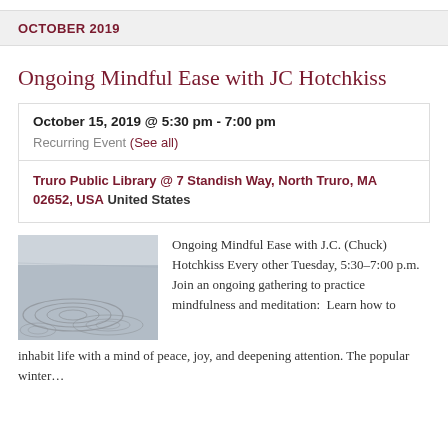OCTOBER 2019
Ongoing Mindful Ease with JC Hotchkiss
October 15, 2019 @ 5:30 pm - 7:00 pm
Recurring Event (See all)
Truro Public Library @ 7 Standish Way, North Truro, MA 02652, USA United States
[Figure (photo): Aerial or beach photo showing circular patterns drawn in sand]
Ongoing Mindful Ease with J.C. (Chuck) Hotchkiss Every other Tuesday, 5:30–7:00 p.m. Join an ongoing gathering to practice mindfulness and meditation:  Learn how to inhabit life with a mind of peace, joy, and deepening attention. The popular winter…